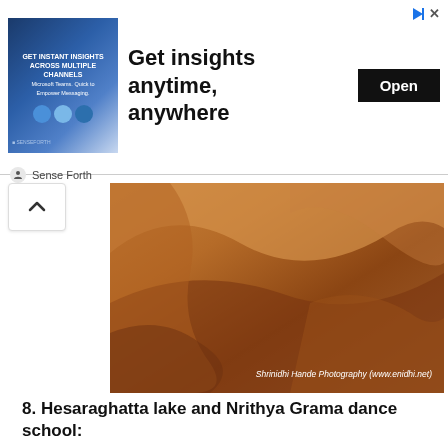[Figure (illustration): Advertisement banner: blue-themed ad image on left with text 'GET INSTANT INSIGHTS ACROSS MULTIPLE CHANNELS', large headline 'Get insights anytime, anywhere', black Open button, close icons top right, 'Sense Forth' footer label]
[Figure (photo): Brown/orange landscape photo showing rolling sand dunes or grassland terrain in warm tones. Watermark: 'Shrinidhi Hande Photography (www.enidhi.net)']
8. Hesaraghatta lake and Nrithya Grama dance school:
Hesaragatta is a vast grasslands that doubles up as a reservoir during rainy season.  This place can get very photogenic if you go during sunrise/sunset time. Located nearby is Nrithyagrama dance school. Visitors can go inside (Rs 50 fee, opens 10.30 AM) and watch students practicing dance. The campus is nice too. A hotel and restaurant is available near  Nrithya Grama.
9.  Antaragange and big rock, Kolar